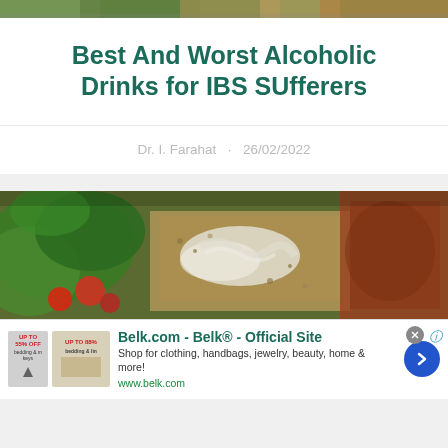[Figure (photo): Top strip showing partial food/nature image at very top of page]
Best And Worst Alcoholic Drinks for IBS SUfferers
Dr. I. Farahat · 26/02/2022
[Figure (photo): Close-up photo of food including green leafy vegetables, tomatoes, and grains/seeds with sauce]
[Figure (other): Advertisement banner: Belk.com - Belk® - Official Site. Shop for clothing, handbags, jewelry, beauty, home & more! www.belk.com]